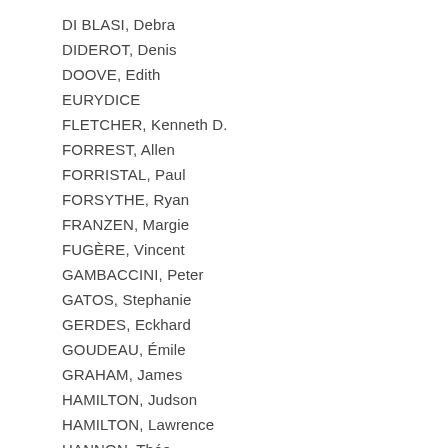DI BLASI, Debra
DIDEROT, Denis
DOOVE, Edith
EURYDICE
FLETCHER, Kenneth D.
FORREST, Allen
FORRISTAL, Paul
FORSYTHE, Ryan
FRANZEN, Margie
FUGÈRE, Vincent
GAMBACCINI, Peter
GATOS, Stephanie
GERDES, Eckhard
GOUDEAU, Émile
GRAHAM, James
HAMILTON, Judson
HAMILTON, Lawrence
HANNON, Théo
HAWK, Petra Anna